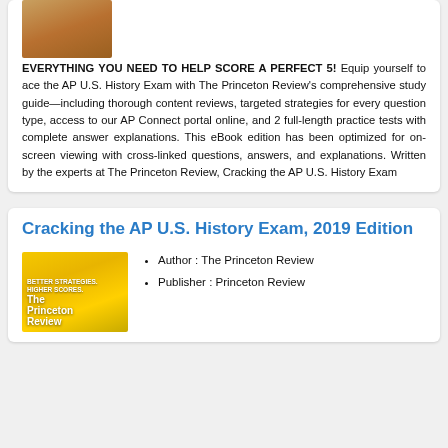[Figure (photo): Partial book cover image at top of first card]
EVERYTHING YOU NEED TO HELP SCORE A PERFECT 5! Equip yourself to ace the AP U.S. History Exam with The Princeton Review's comprehensive study guide—including thorough content reviews, targeted strategies for every question type, access to our AP Connect portal online, and 2 full-length practice tests with complete answer explanations. This eBook edition has been optimized for on-screen viewing with cross-linked questions, answers, and explanations. Written by the experts at The Princeton Review, Cracking the AP U.S. History Exam
Cracking the AP U.S. History Exam, 2019 Edition
[Figure (photo): Princeton Review book cover for Cracking the AP U.S. History Exam, 2019 Edition — yellow cover]
Author : The Princeton Review
Publisher : Princeton Review